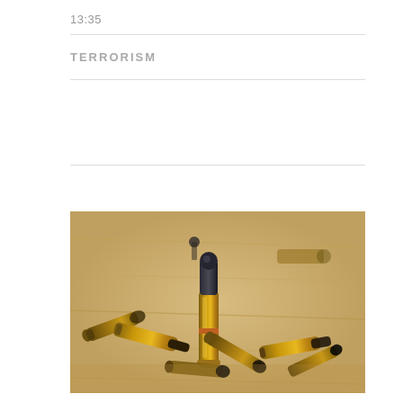13:35
TERRORISM
[Figure (photo): Multiple brass bullet cartridges and spent shell casings scattered on a light wooden surface. One bullet stands upright in the foreground showing the lead tip, surrounded by other cartridges lying on their sides.]